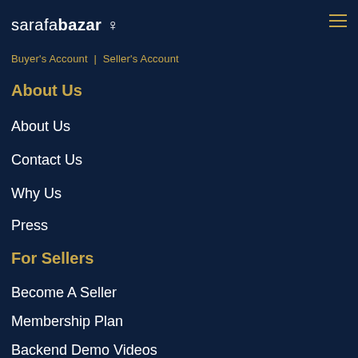sarafabazar ♀
Buyer's Account  |  Seller's Account
About Us
About Us
Contact Us
Why Us
Press
For Sellers
Become A Seller
Membership Plan
Backend Demo Videos
Green India